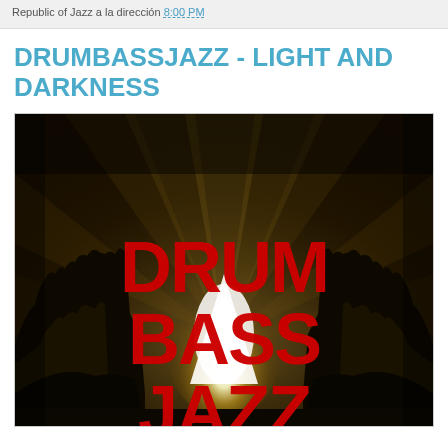Republic of Jazz a la dirección 8:00 PM
DRUMBASSJAZZ - LIGHT AND DARKNESS
[Figure (illustration): Album cover for DRUMBASSJAZZ showing large red bold text 'DRUMBASSJAZZ' over a dark dramatic background with rays of light emanating from a bright central point surrounded by dark silhouetted trees]